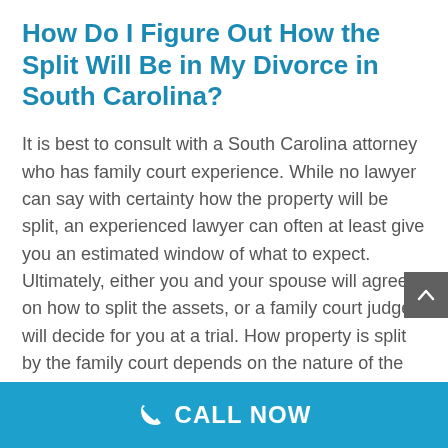How Do I Figure Out How the Split Will Be in My Divorce in South Carolina?
It is best to consult with a South Carolina attorney who has family court experience. While no lawyer can say with certainty how the property will be split, an experienced lawyer can often at least give you an estimated window of what to expect. Ultimately, either you and your spouse will agree on how to split the assets, or a family court judge will decide for you at a trial. How property is split by the family court depends on the nature of the property. For real estate, usually either the property is sold and the
CALL NOW